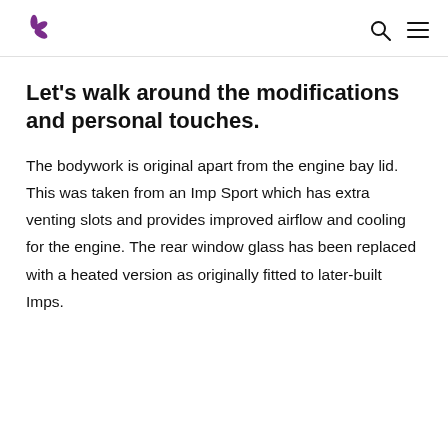Let's walk around the modifications and personal touches.
The bodywork is original apart from the engine bay lid. This was taken from an Imp Sport which has extra venting slots and provides improved airflow and cooling for the engine. The rear window glass has been replaced with a heated version as originally fitted to later-built Imps.